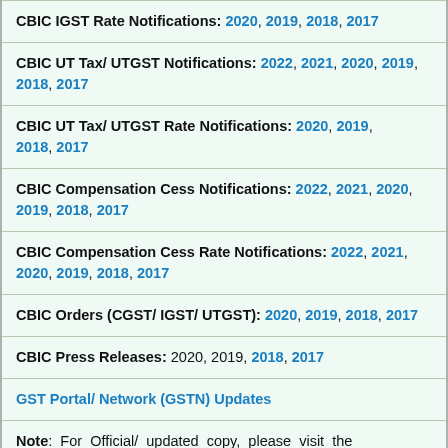CBIC IGST Rate Notifications: 2020, 2019, 2018, 2017
CBIC UT Tax/ UTGST Notifications: 2022, 2021, 2020, 2019, 2018, 2017
CBIC UT Tax/ UTGST Rate Notifications: 2020, 2019, 2018, 2017
CBIC Compensation Cess Notifications: 2022, 2021, 2020, 2019, 2018, 2017
CBIC Compensation Cess Rate Notifications: 2022, 2021, 2020, 2019, 2018, 2017
CBIC Orders (CGST/ IGST/ UTGST): 2020, 2019, 2018, 2017
CBIC Press Releases: 2020, 2019, 2018, 2017
GST Portal/ Network (GSTN) Updates
Note: For Official/ updated copy, please visit the